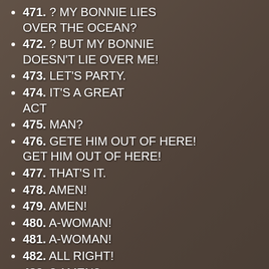471. ? MY BONNIE LIES OVER THE OCEAN?
472. ? BUT MY BONNIE DOESN'T LIE OVER ME!
473. LET'S PARTY.
474. IT'S A GREAT ACT
475. MAN?
476. GETE HIM OUT OF HERE! GET HIM OUT OF HERE!
477. THAT'S IT.
478. AMEN!
479. AMEN!
480. A-WOMAN!
481. A-WOMAN!
482. ALL RIGHT!
483. ? AMEN?
484. ? AMEN?
485. ? AMEN?